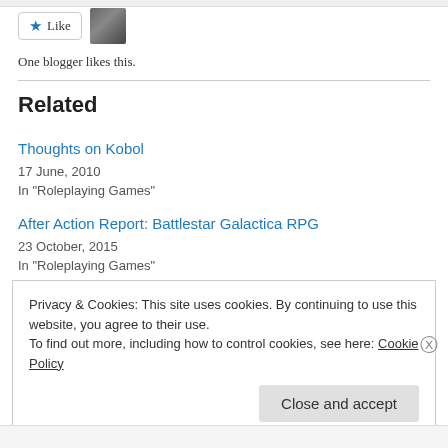[Figure (other): Like button with star icon and a user avatar thumbnail]
One blogger likes this.
Related
Thoughts on Kobol
17 June, 2010
In "Roleplaying Games"
After Action Report: Battlestar Galactica RPG
23 October, 2015
In "Roleplaying Games"
Privacy & Cookies: This site uses cookies. By continuing to use this website, you agree to their use.
To find out more, including how to control cookies, see here: Cookie Policy
Close and accept